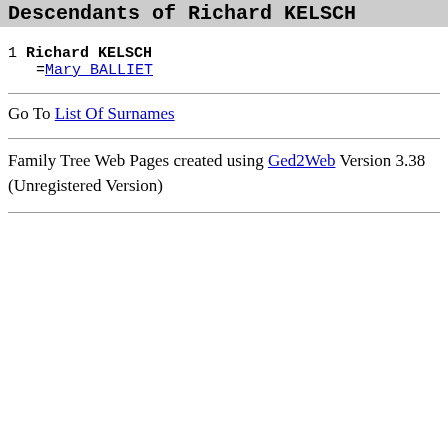Descendants of Richard KELSCH
1  Richard KELSCH
   =Mary BALLIET
Go To List Of Surnames
Family Tree Web Pages created using Ged2Web Version 3.38 (Unregistered Version)